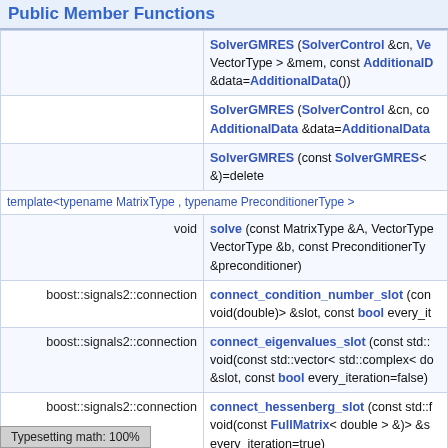Public Member Functions
| return type | function signature |
| --- | --- |
|  | SolverGMRES (SolverControl &cn, VectorType > &mem, const AdditionalD &data=AdditionalData()) |
|  | SolverGMRES (SolverControl &cn, co AdditionalData &data=AdditionalData |
|  | SolverGMRES (const SolverGMRES< &)=delete |
| template<typename MatrixType , typename PreconditionerType > |  |
| void | solve (const MatrixType &A, VectorType VectorType &b, const PreconditionerTy &preconditioner) |
| boost::signals2::connection | connect_condition_number_slot (con void(double)> &slot, const bool every_it |
| boost::signals2::connection | connect_eigenvalues_slot (const std:: void(const std::vector< std::complex< do &slot, const bool every_iteration=false) |
| boost::signals2::connection | connect_hessenberg_slot (const std:: void(const FullMatrix< double > &)> &s every_iteration=true) |
Typesetting math: 100%